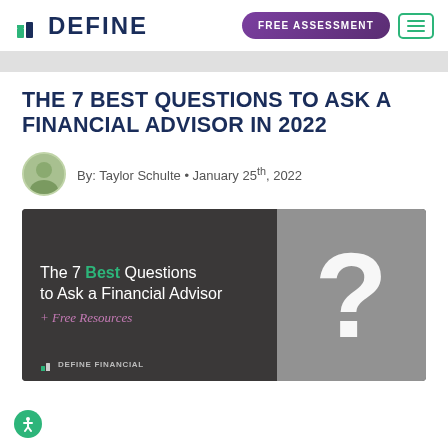DEFINE | FREE ASSESSMENT
THE 7 BEST QUESTIONS TO ASK A FINANCIAL ADVISOR IN 2022
By: Taylor Schulte • January 25th, 2022
[Figure (illustration): Article header image showing text 'The 7 Best Questions to Ask a Financial Advisor + Free Resources' with a large question mark on the right side, and Define Financial logo at the bottom left.]